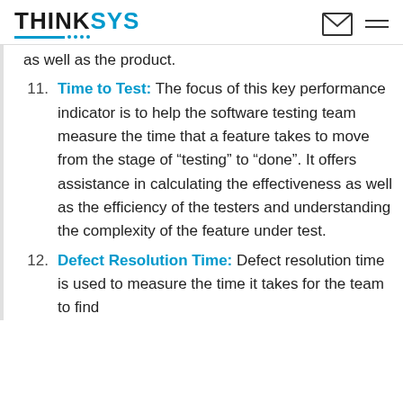THINKSYS
as well as the product.
Time to Test: The focus of this key performance indicator is to help the software testing team measure the time that a feature takes to move from the stage of “testing” to “done”. It offers assistance in calculating the effectiveness as well as the efficiency of the testers and understanding the complexity of the feature under test.
Defect Resolution Time: Defect resolution time is used to measure the time it takes for the team to find